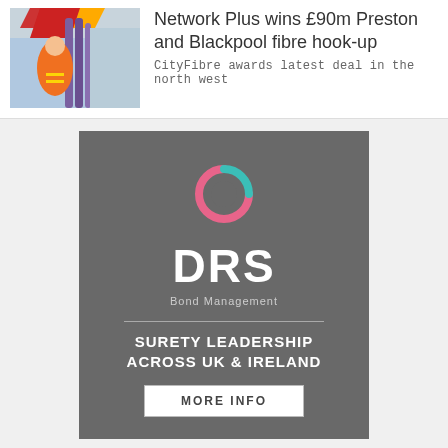Network Plus wins £90m Preston and Blackpool fibre hook-up
CityFibre awards latest deal in the north west
[Figure (illustration): DRS Bond Management advertisement showing logo with pink and teal circular icon, text 'DRS Bond Management', 'SURETY LEADERSHIP ACROSS UK & IRELAND', and a 'MORE INFO' button on a grey background.]
Plans to go in for £100m